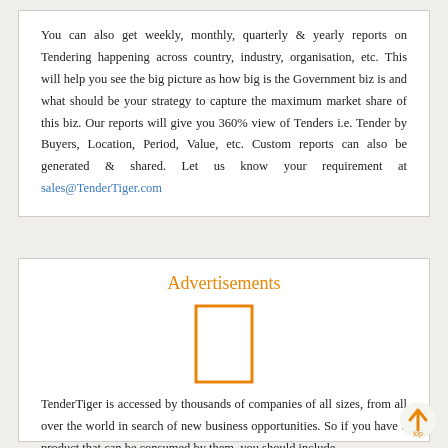You can also get weekly, monthly, quarterly & yearly reports on Tendering happening across country, industry, organisation, etc. This will help you see the big picture as how big is the Government biz is and what should be your strategy to capture the maximum market share of this biz. Our reports will give you 360% view of Tenders i.e. Tender by Buyers, Location, Period, Value, etc. Custom reports can also be generated & shared. Let us know your requirement at sales@TenderTiger.com
Advertisements
[Figure (other): Orange rectangle outline placeholder for advertisement]
TenderTiger is accessed by thousands of companies of all sizes, from all over the world in search of new business opportunities. So if you have a product that can be consumed by them, you should include